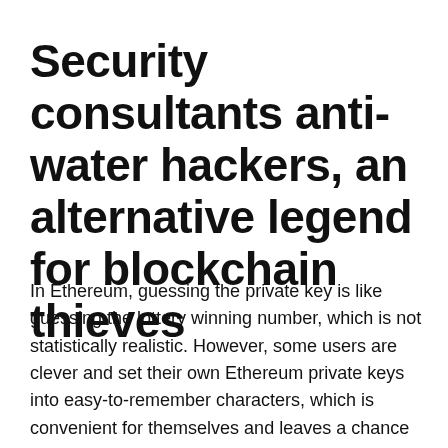Security consultants anti-water hackers, an alternative legend for blockchain thieves
In Ethereum, guessing the private key is like guessing the lottery winning number, which is not statistically realistic. However, some users are clever and set their own Ethereum private keys into easy-to-remember characters, which is convenient for themselves and leaves a chance for the blockchain thief.